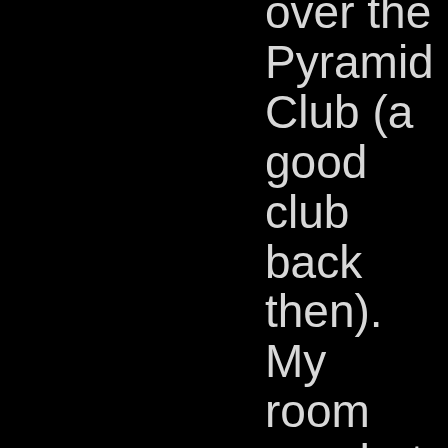over the Pyramid Club (a good club back then). My room was hot and small. I played Texas and Dead Men Tell No Tales and Ragged School over and